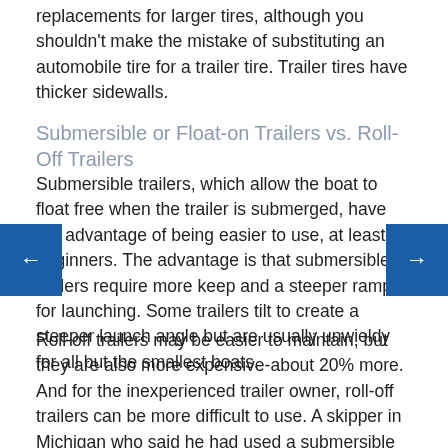replacements for larger tires, although you shouldn't make the mistake of substituting an automobile tire for a trailer tire. Trailer tires have thicker sidewalls.
Submersible or Float-on Trailers vs. Roll-Off Trailers
Submersible trailers, which allow the boat to float free when the trailer is submerged, have the advantage of being easier to use, at least for beginners. The advantage is that submersible trailers require more keep and a steeper ramp for launching. Some trailers tilt to create a steeper launch angle but are usually unwieldy for all but the smallest boats.
Roll-off trailers may be easier to maintain, but they are also more expensive-about 20% more. And for the inexperienced trailer owner, roll-off trailers can be more difficult to use. A skipper in Michigan who said he had used a submersible trailer several times still managed to